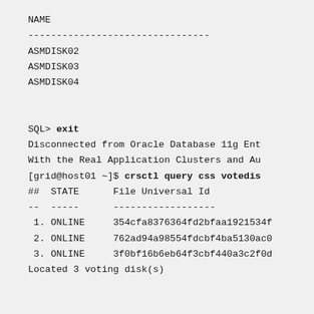NAME
--------------------------------
ASMDISK02
ASMDISK03
ASMDISK04

SQL> exit
Disconnected from Oracle Database 11g Ent
With the Real Application Clusters and Au
[grid@host01 ~]$ crsctl query css votedis
##  STATE      File Universal Id
--  -----      ------------------
 1. ONLINE     354cfa8376364fd2bfaa1921534f
 2. ONLINE     762ad94a98554fdcbf4ba5130ac0
 3. ONLINE     3f0bf16b6eb64f3cbf440a3c2f0d
Located 3 voting disk(s)